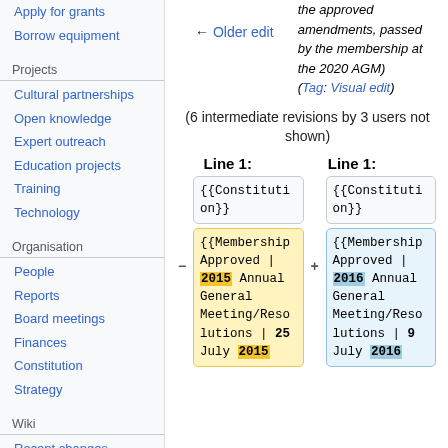Apply for grants
Borrow equipment
Projects
Cultural partnerships
Open knowledge
Expert outreach
Education projects
Training
Technology
Organisation
People
Reports
Board meetings
Finances
Constitution
Strategy
Wiki
Recent changes
Water cooler
Engine room
← Older edit
the approved amendments, passed by the membership at the 2020 AGM) (Tag: Visual edit)
(6 intermediate revisions by 3 users not shown)
Line 1: (left) Line 1: (right)
{{Constitution on}} (left neutral)
{{Constitution on}} (right neutral)
{{MembershipApproved | 2015 Annual General Meeting/Resolutions | 25 July 2015 (removed)
{{MembershipApproved | 2016 Annual General Meeting/Resolutions | 9 July 2016 (added)